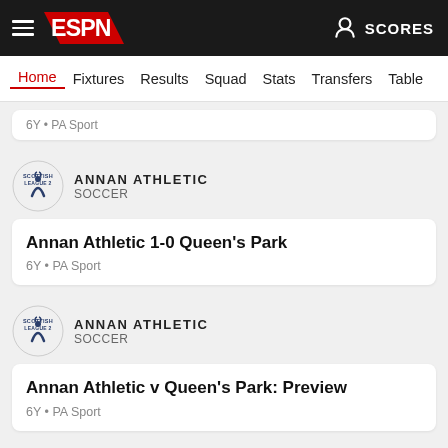ESPN - Home Fixtures Results Squad Stats Transfers Table
6Y • PA Sport
ANNAN ATHLETIC SOCCER
Annan Athletic 1-0 Queen's Park
6Y • PA Sport
ANNAN ATHLETIC SOCCER
Annan Athletic v Queen's Park: Preview
6Y • PA Sport
ANNAN ATHLETIC SOCCER